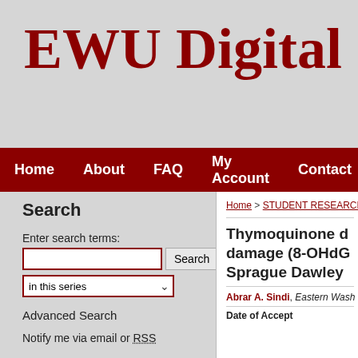EWU Digital Commons
Home | About | FAQ | My Account | Contact
Search
Enter search terms:
in this series
Advanced Search
Notify me via email or RSS
Browse
Colleges, Departments, and Programs
Home > STUDENT RESEARCH
Thymoquinone d damage (8-OHdG Sprague Dawley
Abrar A. Sindi, Eastern Washington University
Date of Acceptance